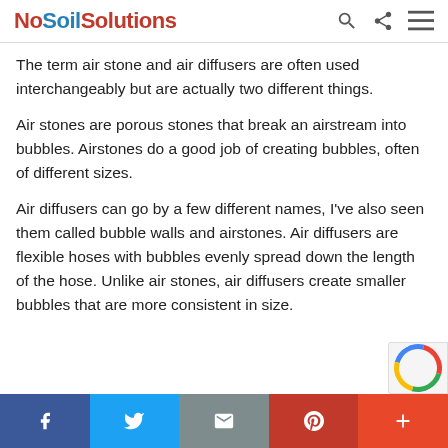NoSoilSolutions
The term air stone and air diffusers are often used interchangeably but are actually two different things.
Air stones are porous stones that break an airstream into bubbles. Airstones do a good job of creating bubbles, often of different sizes.
Air diffusers can go by a few different names, I've also seen them called bubble walls and airstones. Air diffusers are flexible hoses with bubbles evenly spread down the length of the hose. Unlike air stones, air diffusers create smaller bubbles that are more consistent in size.
Social share bar: Facebook, Twitter, Email, Pinterest, More